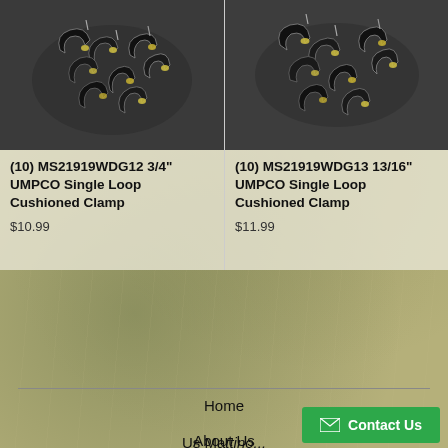[Figure (photo): Pile of MS21919WDG12 3/4 inch UMPCO single loop cushioned clamps, black rubber with metal hardware]
[Figure (photo): Pile of MS21919WDG13 13/16 inch UMPCO single loop cushioned clamps, black rubber with metal hardware]
(10) MS21919WDG12 3/4" UMPCO Single Loop Cushioned Clamp
(10) MS21919WDG13 13/16" UMPCO Single Loop Cushioned Clamp
$10.99
$11.99
Home
About Us
Products
Us Mattino...